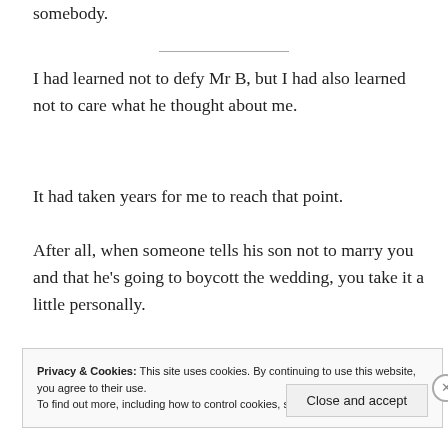somebody.
I had learned not to defy Mr B, but I had also learned not to care what he thought about me.
It had taken years for me to reach that point.
After all, when someone tells his son not to marry you and that he’s going to boycott the wedding, you take it a little personally.
Privacy & Cookies: This site uses cookies. By continuing to use this website, you agree to their use.
To find out more, including how to control cookies, see here: Cookie Policy
Close and accept